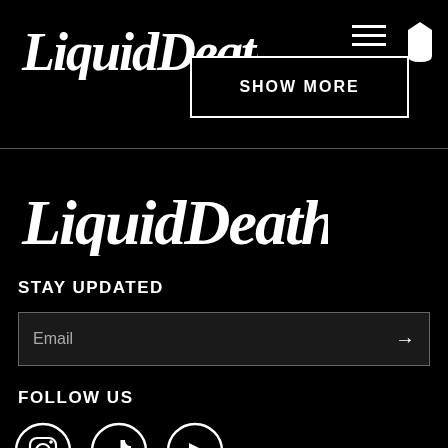Liquid Death
SHOW MORE
[Figure (logo): Hamburger menu icon (three horizontal lines) and coffin icon in the top right corner]
[Figure (logo): Liquid Death logo in gothic blackletter font in the footer section]
STAY UPDATED
Email
FOLLOW US
[Figure (logo): Social media icons: Instagram, TikTok, YouTube in circular outlines]